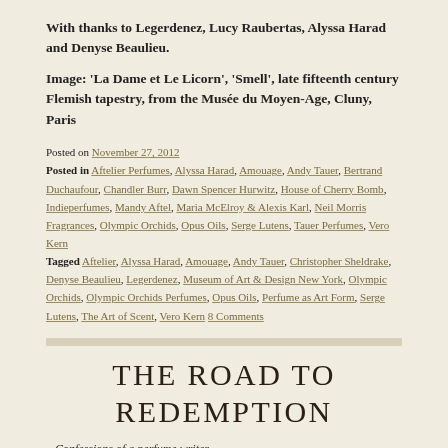With thanks to Legerdenez, Lucy Raubertas, Alyssa Harad and Denyse Beaulieu.
Image: 'La Dame et Le Licorn', 'Smell', late fifteenth century Flemish tapestry, from the Musée du Moyen-Age, Cluny, Paris
Posted on November 27, 2012
Posted in Aftelier Perfumes, Alyssa Harad, Amouage, Andy Tauer, Bertrand Duchaufour, Chandler Burr, Dawn Spencer Hurwitz, House of Cherry Bomb, Indieperfumes, Mandy Aftel, Maria McElroy & Alexis Karl, Neil Morris Fragrances, Olympic Orchids, Opus Oils, Serge Lutens, Tauer Perfumes, Vero Kern
Tagged Aftelier, Alyssa Harad, Amouage, Andy Tauer, Christopher Sheldrake, Denyse Beaulieu, Legerdenez, Museum of Art & Design New York, Olympic Orchids, Olympic Orchids Perfumes, Opus Oils, Perfume as Art Form, Serge Lutens, The Art of Scent, Vero Kern 8 Comments
THE ROAD TO REDEMPTION
– Confessions of a perfume writer